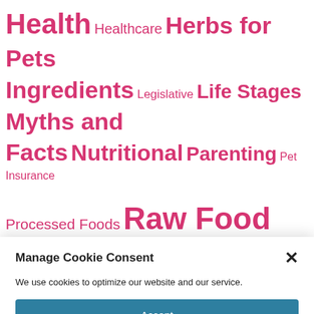Health Healthcare Herbs for Pets Ingredients Legislative Life Stages Myths and Facts Nutritional Parenting Pet Insurance Processed Foods Raw Food Diet Raw
Manage Cookie Consent
We use cookies to optimize our website and our service.
Accept
Deny
Preferences
Cookie Policy   Privacy Policy